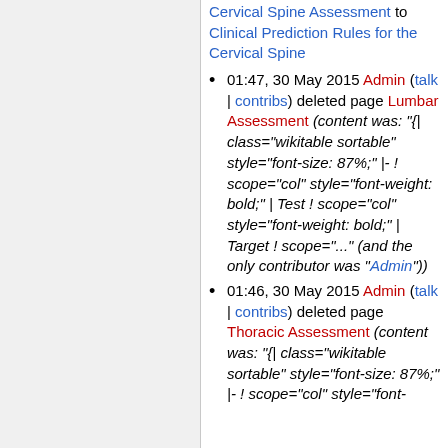Cervical Spine Assessment to Clinical Prediction Rules for the Cervical Spine
01:47, 30 May 2015 Admin (talk | contribs) deleted page Lumbar Assessment (content was: "{| class="wikitable sortable" style="font-size: 87%;" |- ! scope="col" style="font-weight: bold;" | Test ! scope="col" style="font-weight: bold;" | Target ! scope="..." (and the only contributor was "Admin"))
01:46, 30 May 2015 Admin (talk | contribs) deleted page Thoracic Assessment (content was: "{| class="wikitable sortable" style="font-size: 87%;" |- ! scope="col" style="font-